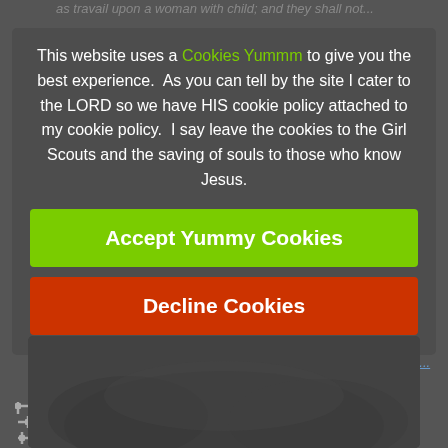as travail upon a woman with child; and they shall not...
This website uses a Cookies Yummm to give you the best experience.  As you can tell by the site I cater to the LORD so we have HIS cookie policy attached to my cookie policy.  I say leave the cookies to the Girl Scouts and the saving of souls to those who know Jesus.
Now lets talk about 666 com in before been here to mention...
Revelation... under... number of a man; and his number is Six Hundred threescore and six.
Who should be has that understanding?
[Figure (screenshot): Cookie consent overlay with green Accept Yummy Cookies button and red Decline Cookies button on a dark gray background, over a religious text website.]
[Figure (photo): Dark blurred image at the bottom of the page]